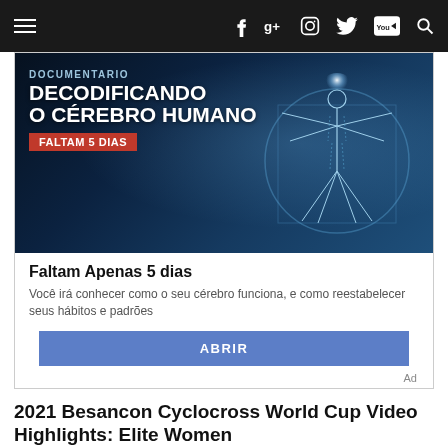Navigation bar with hamburger menu, Facebook, Google+, Instagram, Twitter, YouTube, Search icons
[Figure (screenshot): Advertisement banner for documentary 'Decodificando o Cérebro Humano'. Dark blue background with neural network imagery and a glowing Vitruvian man figure. Text: DOCUMENTARIO, DECODIFICANDO O CÉREBRO HUMANO, FALTAM 5 DIAS (red badge).]
Faltam Apenas 5 dias
Você irá conhecer como o seu cérebro funciona, e como reestabelecer seus hábitos e padrões
ABRIR
Ad
2021 Besancon Cyclocross World Cup Video Highlights: Elite Women